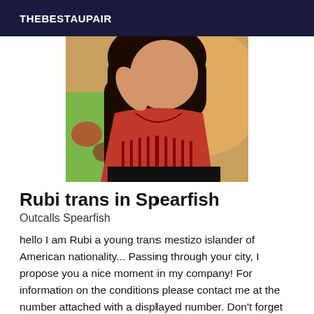THEBESTAUPAIR
[Figure (photo): A person wearing a red lace fringed top, photographed indoors]
Rubi trans in Spearfish
Outcalls Spearfish
hello I am Rubi a young trans mestizo islander of American nationality... Passing through your city, I propose you a nice moment in my company! For information on the conditions please contact me at the number attached with a displayed number. Don't forget